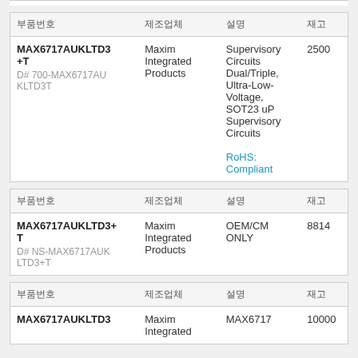| 부품번호 | 제조업체 | 설명 | 재고 |
| --- | --- | --- | --- |
| MAX6717AUKLTD3+T
D# 700-MAX6717AUKLTD3T | Maxim Integrated Products | Supervisory Circuits Dual/Triple, Ultra-Low-Voltage, SOT23 uP Supervisory Circuits
RoHS: Compliant | 2500 |
| 부품번호 | 제조업체 | 설명 | 재고 |
| --- | --- | --- | --- |
| MAX6717AUKLTD3+T
D# NS-MAX6717AUKLTD3+T | Maxim Integrated Products | OEM/CM ONLY | 8814 |
| 부품번호 | 제조업체 | 설명 | 재고 |
| --- | --- | --- | --- |
| MAX6717AUKLTD3 | Maxim Integrated | MAX6717 | 10000 |